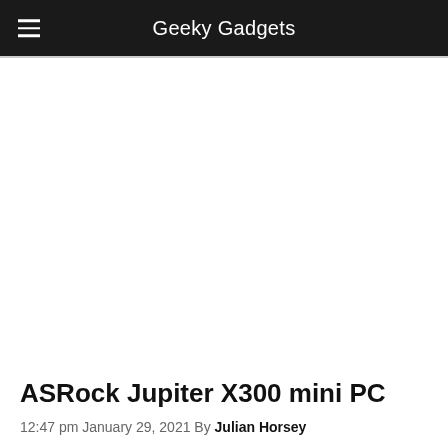Geeky Gadgets
ASRock Jupiter X300 mini PC
12:47 pm January 29, 2021 By Julian Horsey